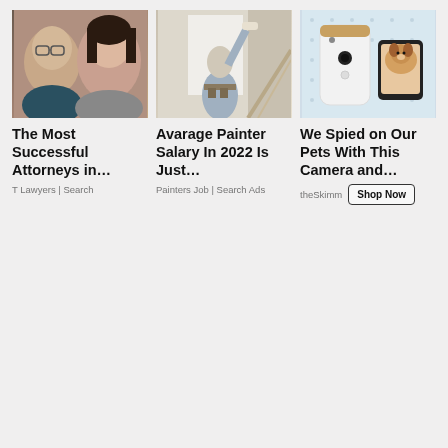[Figure (photo): Two people faces close-up, man with glasses on left, woman on right]
The Most Successful Attorneys in…
T Lawyers | Search
[Figure (photo): Person painting a wall, seen from behind, holding a paint roller]
Avarage Painter Salary In 2022 Is Just…
Painters Job | Search Ads
[Figure (photo): White pet camera device next to a smartphone showing a dog, on a light blue dotted background]
We Spied on Our Pets With This Camera and…
theSkimm
Shop Now